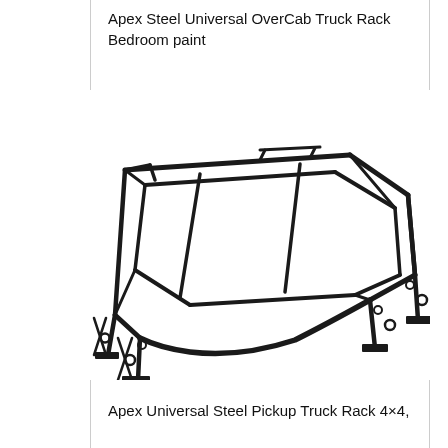Apex Steel Universal OverCab Truck Rack Bedroom paint
[Figure (photo): Black steel universal over-cab truck rack with four legs/mounting brackets, shown in a 3D perspective view against a white background. The rack has a rectangular frame with internal cross bars and curved front corners.]
Apex Universal Steel Pickup Truck Rack 4×4,